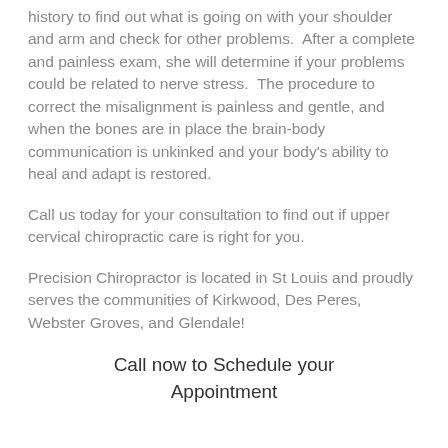history to find out what is going on with your shoulder and arm and check for other problems. After a complete and painless exam, she will determine if your problems could be related to nerve stress. The procedure to correct the misalignment is painless and gentle, and when the bones are in place the brain-body communication is unkinked and your body's ability to heal and adapt is restored.
Call us today for your consultation to find out if upper cervical chiropractic care is right for you.
Precision Chiropractor is located in St Louis and proudly serves the communities of Kirkwood, Des Peres, Webster Groves, and Glendale!
Call now to Schedule your Appointment